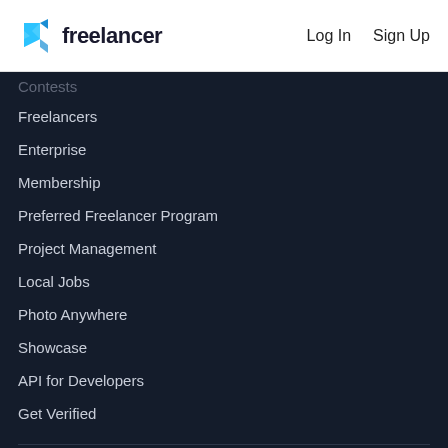freelancer  Log In  Sign Up
Contests (partial)
Freelancers
Enterprise
Membership
Preferred Freelancer Program
Project Management
Local Jobs
Photo Anywhere
Showcase
API for Developers
Get Verified
About
About us
How it Works
Careers